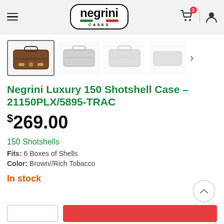Negrini Cases - navigation header with logo, cart, and user icon
[Figure (photo): Product thumbnail gallery showing four views of brown shotshell case. First thumbnail is active/selected (brown case). Three others are faded gray views.]
Negrini Luxury 150 Shotshell Case – 21150PLX/5895-TRAC
$269.00
150 Shotshells
Fits: 6 Boxes of Shells
Color: Brown//Rich Tobacco
In stock